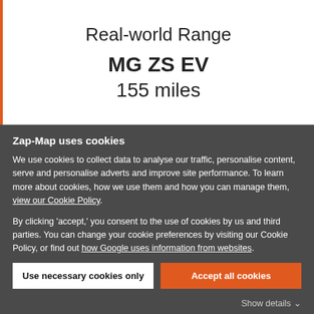Real-world Range
MG ZS EV
155 miles
Zap-Map uses cookies
We use cookies to collect data to analyse our traffic, personalise content, serve and personalise adverts and improve site performance. To learn more about cookies, how we use them and how you can manage them, view our Cookie Policy.
By clicking 'accept,' you consent to the use of cookies by us and third parties. You can change your cookie preferences by visiting our Cookie Policy, or find out how Google uses information from websites.
Use necessary cookies only
Accept all cookies
Show details